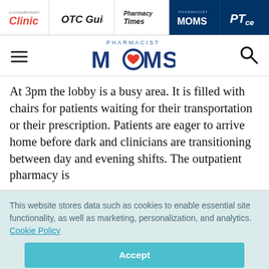Clinic | OTC Guide | Pharmacy Times | Pharmacist MOMS | PTce
[Figure (logo): Pharmacist MOMS logo with hamburger menu and search icon]
At 3pm the lobby is a busy area. It is filled with chairs for patients waiting for their transportation or their prescription. Patients are eager to arrive home before dark and clinicians are transitioning between day and evening shifts. The outpatient pharmacy is
This website stores data such as cookies to enable essential site functionality, as well as marketing, personalization, and analytics. Cookie Policy
Accept
Deny